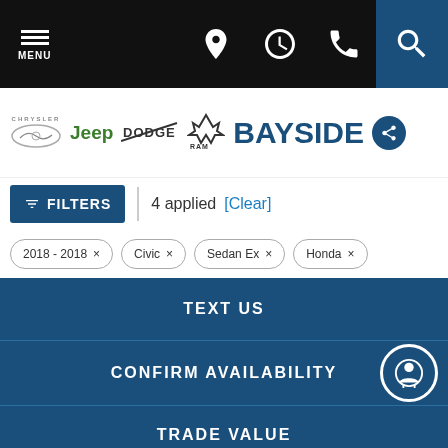MENU | navigation icons | search
[Figure (logo): Chrysler, Jeep, Dodge, Ram, and Bayside dealership logos]
FILTERS | 4 applied [Clear]
2018 - 2018 × | Civic × | Sedan Ex × | Honda ×
TEXT US
CONFIRM AVAILABILITY
TRADE VALUE
Sell Us Your Car